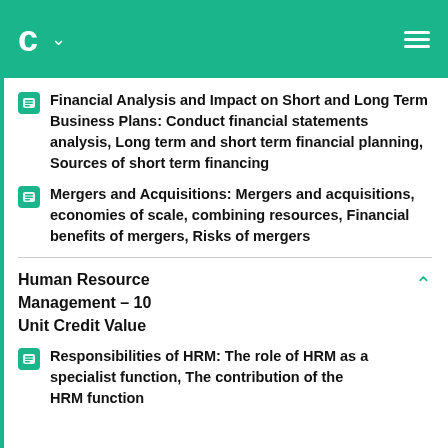C
Financial Analysis and Impact on Short and Long Term Business Plans: Conduct financial statements analysis, Long term and short term financial planning, Sources of short term financing
Mergers and Acquisitions: Mergers and acquisitions, economies of scale, combining resources, Financial benefits of mergers, Risks of mergers
Human Resource Management – 10 Unit Credit Value
Responsibilities of HRM: The role of HRM as a specialist function, The contribution of the HRM function